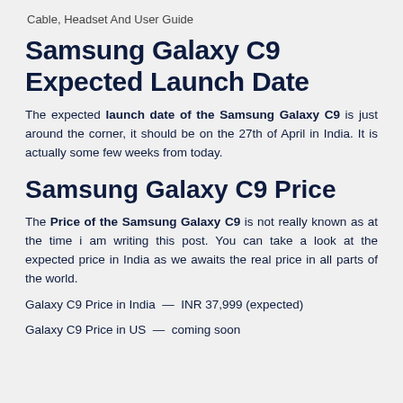Cable, Headset And User Guide
Samsung Galaxy C9 Expected Launch Date
The expected launch date of the Samsung Galaxy C9 is just around the corner, it should be on the 27th of April in India. It is actually some few weeks from today.
Samsung Galaxy C9 Price
The Price of the Samsung Galaxy C9 is not really known as at the time i am writing this post. You can take a look at the expected price in India as we awaits the real price in all parts of the world.
Galaxy C9 Price in India  —  INR 37,999 (expected)
Galaxy C9 Price in US  —  coming soon